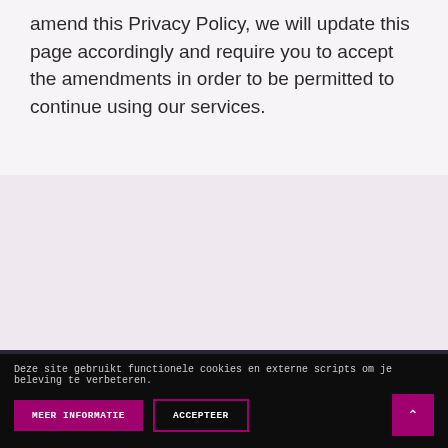amend this Privacy Policy, we will update this page accordingly and require you to accept the amendments in order to be permitted to continue using our services.
Hier vindt u mij
+31 73 613 07 27
Deze site gebruikt functionele cookies en externe scripts om je beleving te verbeteren.
MEER INFORMATIE
ACCEPTEER